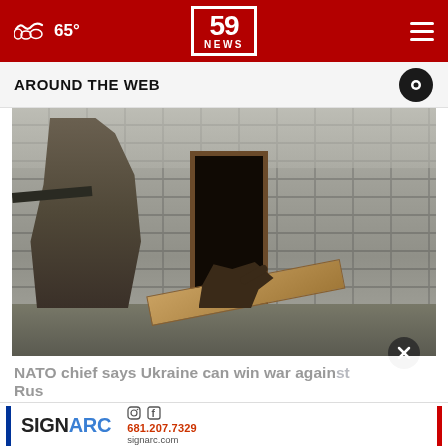65° | 59 NEWS
AROUND THE WEB
[Figure (photo): A soldier in combat gear holding a rifle approaches a doorway in a brick building while a military dog enters through the dark doorway opening. A fallen door/plank lies on the ground.]
NATO chief says Ukraine can win war against Russia
[Figure (logo): SIGNARC advertisement banner with phone number 681.207.7329 and website signarc.com]
[Figure (other): Bottom strip showing sandy/earth toned background]